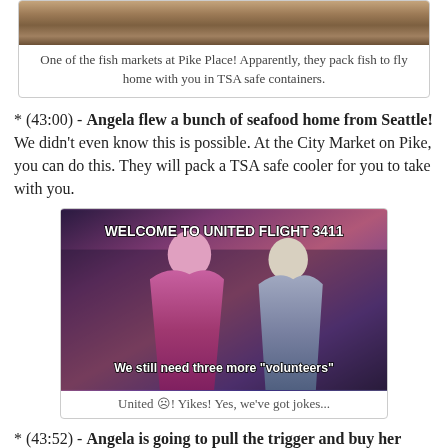[Figure (photo): Top portion of a fish market at Pike Place, showing what appears to be a counter or display area.]
One of the fish markets at Pike Place! Apparently, they pack fish to fly home with you in TSA safe containers.
* (43:00) - Angela flew a bunch of seafood home from Seattle! We didn't even know this is possible. At the City Market on Pike, you can do this. They will pack a TSA safe cooler for you to take with you.
[Figure (photo): Meme image from Hunger Games with text: 'WELCOME TO UNITED FLIGHT 3411' at top and 'We still need three more "volunteers"' at bottom.]
United ☹! Yikes! Yes, we've got jokes...
* (43:52) - Angela is going to pull the trigger and buy her airline tickets to go to ASC. Jean found out that she has